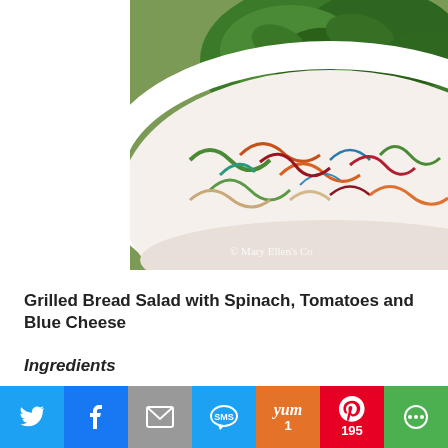[Figure (photo): Close-up photo of a decorative colorful bowl containing fresh green spinach leaves, with watermark text '© Mary Ellen's Co' visible in the lower right corner of the image.]
Grilled Bread Salad with Spinach, Tomatoes and Blue Cheese
Ingredients
[Figure (infographic): Social sharing bar with buttons for Twitter, Facebook, Email, SMS, Yummly (1 share), Pinterest (195 shares), and More options.]